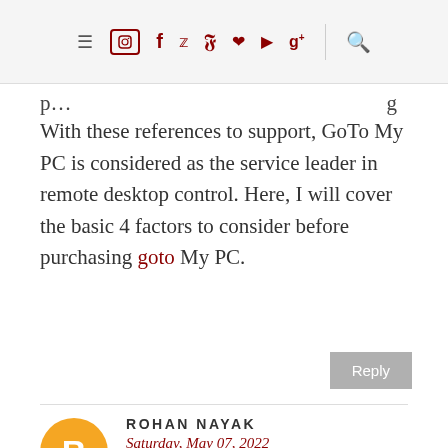≡ [instagram] [facebook] [twitter] [pinterest] [heart] [youtube] [google+] [search]
p... ...g py. With these references to support, GoTo My PC is considered as the service leader in remote desktop control. Here, I will cover the basic 4 factors to consider before purchasing goto My PC.
Reply
ROHAN NAYAK
Saturday, May 07, 2022
The article you have shared here is very informative and the points you have mentioned are very...